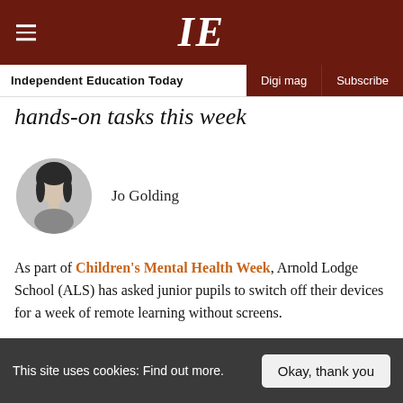IE — Independent Education Today | Digi mag | Subscribe
hands-on tasks this week
Jo Golding
As part of Children's Mental Health Week, Arnold Lodge School (ALS) has asked junior pupils to switch off their devices for a week of remote learning without screens.
This site uses cookies: Find out more. | Okay, thank you